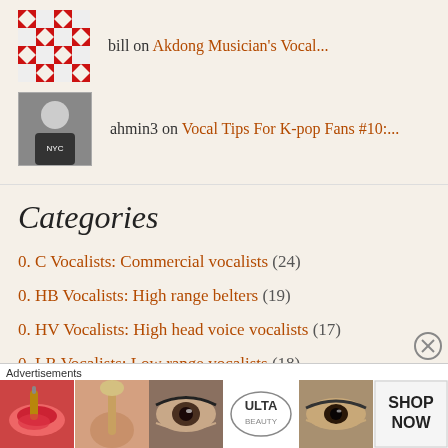bill on Akdong Musician's Vocal...
ahmin3 on Vocal Tips For K-pop Fans #10:...
Categories
0. C Vocalists: Commercial vocalists (24)
0. HB Vocalists: High range belters (19)
0. HV Vocalists: High head voice vocalists (17)
0. LR Vocalists: Low range vocalists (18)
0. M Vocalists: Mid-range vocalists (45)
Advertisements